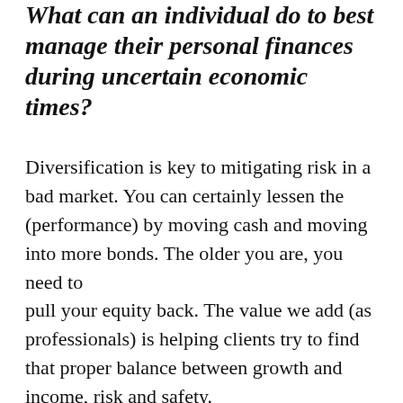What can an individual do to best manage their personal finances during uncertain economic times?
Diversification is key to mitigating risk in a bad market. You can certainly lessen the (performance) by moving cash and moving into more bonds. The older you are, you need to pull your equity back. The value we add (as professionals) is helping clients try to find that proper balance between growth and income, risk and safety.